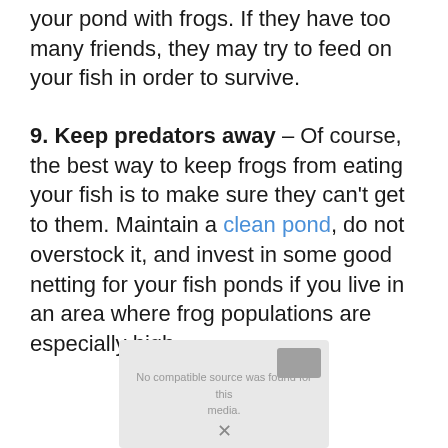your pond with frogs. If they have too many friends, they may try to feed on your fish in order to survive.
9. Keep predators away – Of course, the best way to keep frogs from eating your fish is to make sure they can't get to them. Maintain a clean pond, do not overstock it, and invest in some good netting for your fish ponds if you live in an area where frog populations are especially high.
[Figure (other): Advertisement or popup box with greyed out text and an arrow/close button]